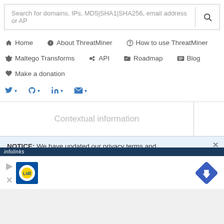Search for domains, IPs, MD5|SHA1|SHA256, email address or AP
Home
About ThreatMiner
How to use ThreatMiner
Maltego Transforms
API
Roadmap
Blog
Make a donation
[Figure (screenshot): Social media share icons: Twitter, GitHub, LinkedIn, Email with dropdown arrows]
Contextual information
NOTICE: We have updated our privacy terms and
[Figure (logo): infolinks logo bar]
[Figure (logo): Lidl logo advertisement with play and close controls and a blue diamond navigation icon]